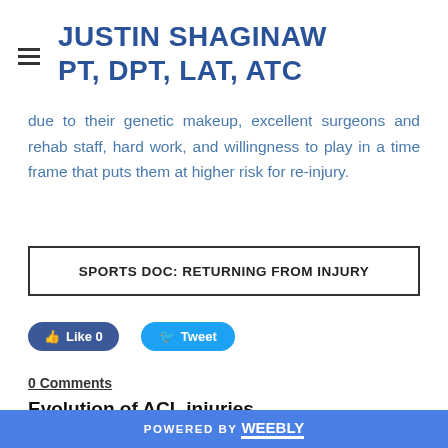JUSTIN SHAGINAW PT, DPT, LAT, ATC
due to their genetic makeup, excellent surgeons and rehab staff, hard work, and willingness to play in a time frame that puts them at higher risk for re-injury.
SPORTS DOC: RETURNING FROM INJURY
Like 0   Tweet
0 Comments
Evolution of ACL injuries
POWERED BY weebly